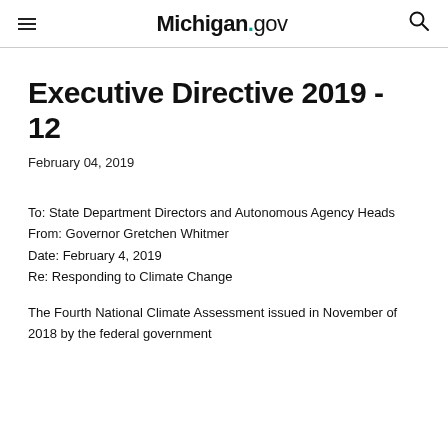Michigan.gov
Executive Directive 2019 - 12
February 04, 2019
To: State Department Directors and Autonomous Agency Heads
From: Governor Gretchen Whitmer
Date: February 4, 2019
Re: Responding to Climate Change
The Fourth National Climate Assessment issued in November of 2018 by the federal government...